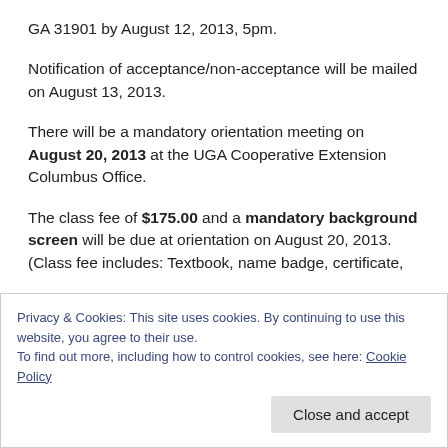GA 31901 by August 12, 2013, 5pm.
Notification of acceptance/non-acceptance will be mailed on August 13, 2013.
There will be a mandatory orientation meeting on August 20, 2013 at the UGA Cooperative Extension Columbus Office.
The class fee of $175.00 and a mandatory background screen will be due at orientation on August 20, 2013. (Class fee includes: Textbook, name badge, certificate,
Privacy & Cookies: This site uses cookies. By continuing to use this website, you agree to their use.
To find out more, including how to control cookies, see here: Cookie Policy